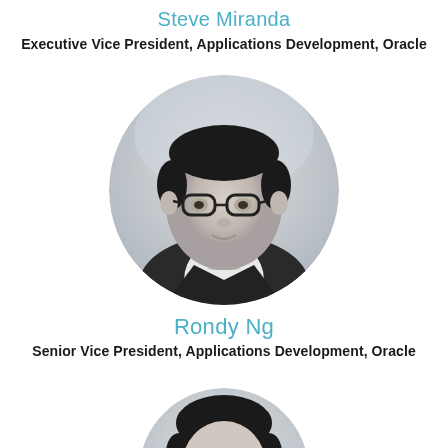Steve Miranda
Executive Vice President, Applications Development, Oracle
[Figure (photo): Circular black-and-white headshot of Rondy Ng, a man wearing glasses and a dark jacket with white shirt]
Rondy Ng
Senior Vice President, Applications Development, Oracle
[Figure (photo): Circular black-and-white headshot partially visible at the bottom of the page]